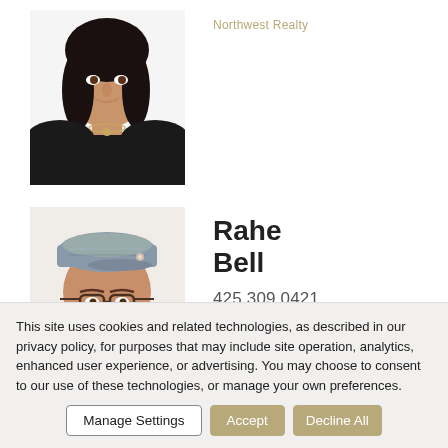[Figure (photo): Photo of a woman in a black sleeveless top with a necklace, partially visible at top of page]
Northwest Realty
[Figure (photo): Photo of Rahe Bell, a smiling man wearing a tweed flat cap, glasses, and a brown leather jacket over a dark red shirt]
Rahe Bell
425.309.0421
CENTURY 21 Northwest Realty
This site uses cookies and related technologies, as described in our privacy policy, for purposes that may include site operation, analytics, enhanced user experience, or advertising. You may choose to consent to our use of these technologies, or manage your own preferences.